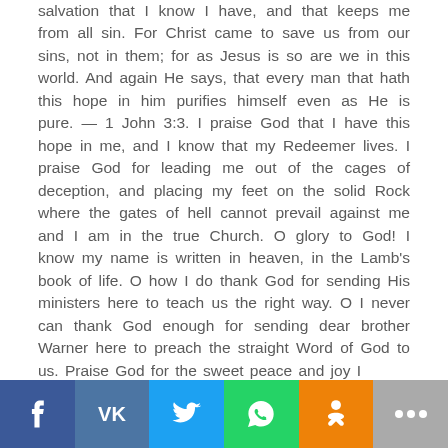salvation that I know I have, and that keeps me from all sin. For Christ came to save us from our sins, not in them; for as Jesus is so are we in this world. And again He says, that every man that hath this hope in him purifies himself even as He is pure. — 1 John 3:3. I praise God that I have this hope in me, and I know that my Redeemer lives. I praise God for leading me out of the cages of deception, and placing my feet on the solid Rock where the gates of hell cannot prevail against me and I am in the true Church. O glory to God! I know my name is written in heaven, in the Lamb's book of life. O how I do thank God for sending His ministers here to teach us the right way. O I never can thank God enough for sending dear brother Warner here to preach the straight Word of God to us. Praise God for the sweet peace and joy I
[Figure (other): Social media sharing bar with buttons for Facebook, VK, Twitter, WhatsApp, Odnoklassniki, and a more/dots button]